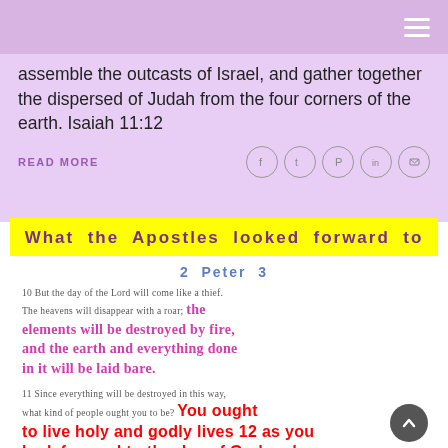assemble the outcasts of Israel, and gather together the dispersed of Judah from the four corners of the earth. Isaiah 11:12
READ MORE
[Figure (infographic): Infographic titled 'What the Apostles looked forward to' with yellow header, referencing 2 Peter 3, verses 10-12 with highlighted text about the day of the Lord, elements destroyed by fire, and living holy and godly lives.]
What the Apostles looked forward to
2 Peter 3
10 But the day of the Lord will come like a thief. The heavens will disappear with a roar; the elements will be destroyed by fire, and the earth and everything done in it will be laid bare.
11 Since everything will be destroyed in this way, what kind of people ought you to be? You ought to live holy and godly lives 12 as you look forward to the day of God and speed its coming. That day will bring about